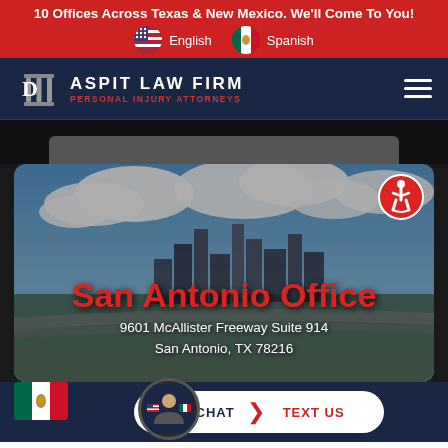10 Offices Across Texas & New Mexico. We'll Come To You!
English  Spanish
[Figure (logo): Daspit Law Firm Personal Injury Attorneys logo with column icon]
[Figure (photo): Aerial city skyline photo of San Antonio with clouds]
San Antonio Office
9601 McAllister Freeway Suite 914
San Antonio, TX 78216
LIVE CHAT  TEXT US